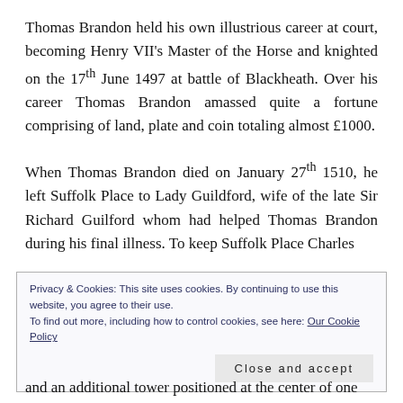Thomas Brandon held his own illustrious career at court, becoming Henry VII's Master of the Horse and knighted on the 17th June 1497 at battle of Blackheath. Over his career Thomas Brandon amassed quite a fortune comprising of land, plate and coin totaling almost £1000.
When Thomas Brandon died on January 27th 1510, he left Suffolk Place to Lady Guildford, wife of the late Sir Richard Guilford whom had helped Thomas Brandon during his final illness. To keep Suffolk Place Charles
Privacy & Cookies: This site uses cookies. By continuing to use this website, you agree to their use.
To find out more, including how to control cookies, see here: Our Cookie Policy
Close and accept
and an additional tower positioned at the center of one